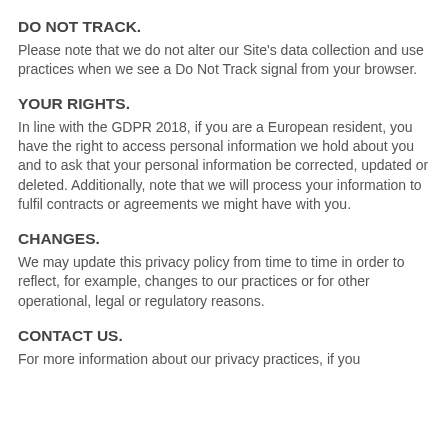DO NOT TRACK.
Please note that we do not alter our Site's data collection and use practices when we see a Do Not Track signal from your browser.
YOUR RIGHTS.
In line with the GDPR 2018, if you are a European resident, you have the right to access personal information we hold about you and to ask that your personal information be corrected, updated or deleted. Additionally, note that we will process your information to fulfil contracts or agreements we might have with you.
CHANGES.
We may update this privacy policy from time to time in order to reflect, for example, changes to our practices or for other operational, legal or regulatory reasons.
CONTACT US.
For more information about our privacy practices, if you